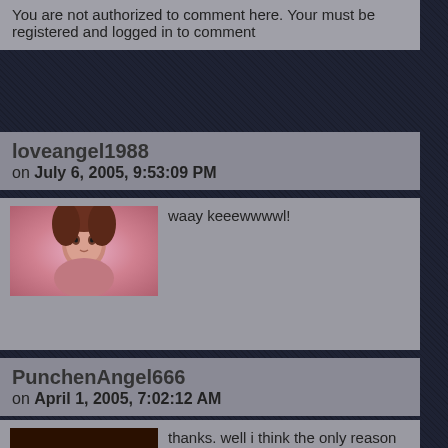You are not authorized to comment here. Your must be registered and logged in to comment
loveangel1988
on July 6, 2005, 9:53:09 PM
[Figure (photo): Avatar photo of loveangel1988 - woman with pink/red background]
waay keeewwwwl!
PunchenAngel666
on April 1, 2005, 7:02:12 AM
[Figure (photo): Avatar of PunchenAngel666 - demonic/anime character with horns and wings]
thanks. well i think the only reason im pretty good at my age at anime is becasue i've been practicing drawling in